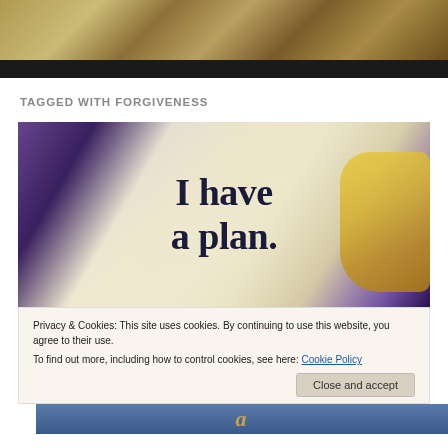[Figure (photo): Decorative header image with gold and blue tones, appears to be a religious or artistic illustration]
TAGGED WITH FORGIVENESS
[Figure (photo): Person holding a piece of paper with handwritten text 'I have a plan.' with yellow-painted nails visible]
Privacy & Cookies: This site uses cookies. By continuing to use this website, you agree to their use.
To find out more, including how to control cookies, see here: Cookie Policy
[Figure (photo): Partial bottom image with blue tones and partial text visible]